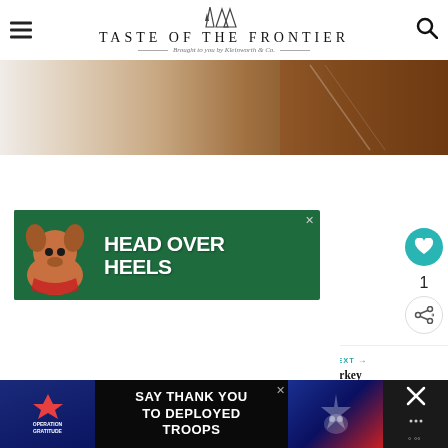TASTE OF THE FRONTIER — Brought to you by Kleinworth & Co.
[Figure (photo): Partial view of a wooden cutting board on a light surface, cropped hero image]
[Figure (infographic): Green advertisement banner with a dog illustration and text HEAD OVER HEELS]
1
WHAT'S NEXT → Cajun Turkey Breast
[Figure (infographic): Black bottom banner ad: Operation Gratitude — SAY THANK YOU TO DEPLOYED TROOPS, with patriotic imagery]